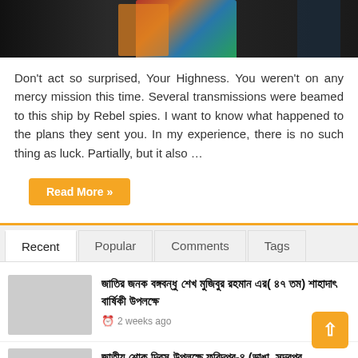[Figure (photo): Partial photo showing people, one wearing a colorful outfit with red, blue, yellow colors against a dark background]
Don't act so surprised, Your Highness. You weren't on any mercy mission this time. Several transmissions were beamed to this ship by Rebel spies. I want to know what happened to the plans they sent you. In my experience, there is no such thing as luck. Partially, but it also …
Read More »
Recent | Popular | Comments | Tags
জাতির জনক বঙ্গবন্ধু শেখ মুজিবুর রহমান এর( ৪৭ তম) শাহাদাৎ বার্ষিকী উপলক্ষে
2 weeks ago
জাতীয় শোক দিবস উপলক্ষে ফরিদপুর-৪ (ভাঙা, সদরপুর, চরভদ্রাসন)
2 weeks ago